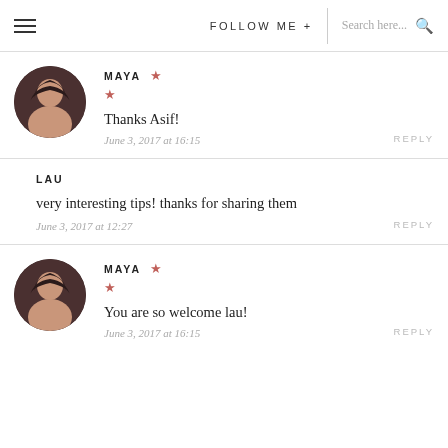FOLLOW ME + | Search here...
MAYA ★
★
Thanks Asif!
June 3, 2017 at 16:15 REPLY
LAU
very interesting tips! thanks for sharing them
June 3, 2017 at 12:27 REPLY
MAYA ★
★
You are so welcome lau!
June 3, 2017 at 16:15 REPLY